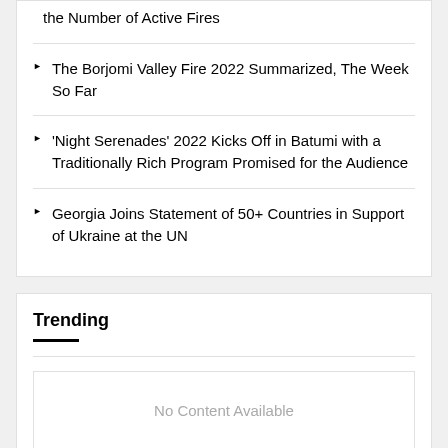the Number of Active Fires
The Borjomi Valley Fire 2022 Summarized, The Week So Far
'Night Serenades' 2022 Kicks Off in Batumi with a Traditionally Rich Program Promised for the Audience
Georgia Joins Statement of 50+ Countries in Support of Ukraine at the UN
Trending
No Content Available